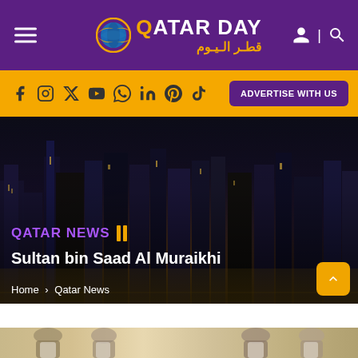QATAR DAY — قطر اليوم — website header with logo, hamburger menu, and search/user icons
f  Instagram  Twitter  YouTube  WhatsApp  in  Pinterest  TikTok  ADVERTISE WITH US
[Figure (screenshot): Hero image showing Qatar city skyline at night with skyscrapers and city lights. Overlaid text: QATAR NEWS with pause icon, headline 'Sultan bin Saad Al Muraikhi', breadcrumb 'Home > Qatar News', and a gold scroll-to-top button.]
[Figure (photo): Bottom strip showing partial photo of people in traditional Qatari dress (thobes) at an outdoor event.]